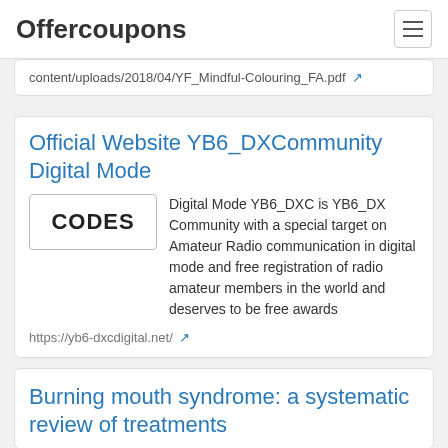Offercoupons
content/uploads/2018/04/YF_Mindful-Colouring_FA.pdf
Official Website YB6_DXCommunity Digital Mode
CODES
Digital Mode YB6_DXC is YB6_DX Community with a special target on Amateur Radio communication in digital mode and free registration of radio amateur members in the world and deserves to be free awards
https://yb6-dxcdigital.net/
Burning mouth syndrome: a systematic review of treatments